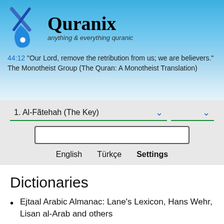[Figure (logo): Quranix logo with stylized X shape in blue and a site name]
44:12 "Our Lord, remove the retribution from us; we are believers."
The Monotheist Group (The Quran: A Monotheist Translation)
1. Al-Fãtehah (The Key) [dropdown]
[search input box]
English   Türkçe   Settings
Dictionaries
Ejtaal Arabic Almanac: Lane's Lexicon, Hans Wehr, Lisan al-Arab and others
>an~